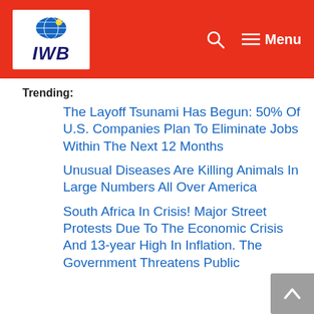[Figure (logo): IWB logo with globe icon on white background inside red header bar]
Menu
Trending:
The Layoff Tsunami Has Begun: 50% Of U.S. Companies Plan To Eliminate Jobs Within The Next 12 Months
Unusual Diseases Are Killing Animals In Large Numbers All Over America
South Africa In Crisis! Major Street Protests Due To The Economic Crisis And 13-year High In Inflation. The Government Threatens Public